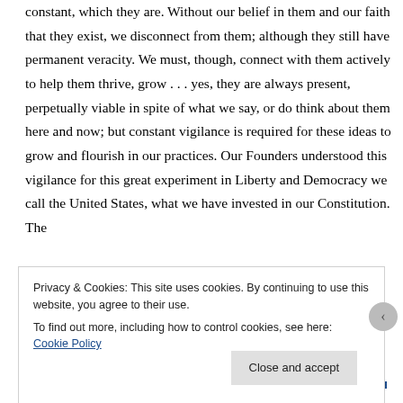constant, which they are. Without our belief in them and our faith that they exist, we disconnect from them; although they still have permanent veracity. We must, though, connect with them actively to help them thrive, grow . . . yes, they are always present, perpetually viable in spite of what we say, or do think about them here and now; but constant vigilance is required for these ideas to grow and flourish in our practices. Our Founders understood this vigilance for this great experiment in Liberty and Democracy we call the United States, what we have invested in our Constitution. The
Privacy & Cookies: This site uses cookies. By continuing to use this website, you agree to their use.
To find out more, including how to control cookies, see here: Cookie Policy